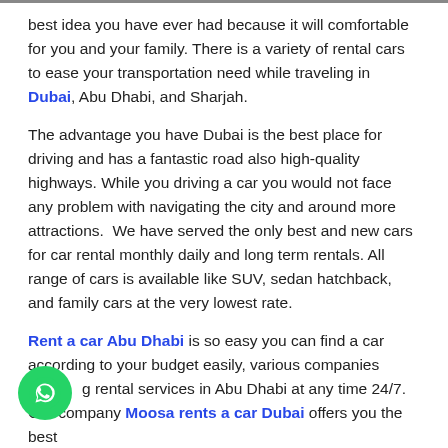best idea you have ever had because it will comfortable for you and your family. There is a variety of rental cars to ease your transportation need while traveling in Dubai, Abu Dhabi, and Sharjah.
The advantage you have Dubai is the best place for driving and has a fantastic road also high-quality highways. While you driving a car you would not face any problem with navigating the city and around more attractions.  We have served the only best and new cars for car rental monthly daily and long term rentals. All range of cars is available like SUV, sedan hatchback, and family cars at the very lowest rate.
Rent a car Abu Dhabi is so easy you can find a car according to your budget easily, various companies offering rental services in Abu Dhabi at any time 24/7. Our company Moosa rents a car Dubai offers you the best